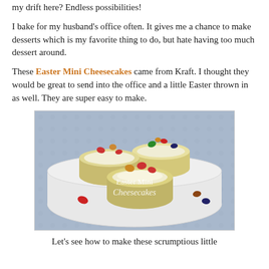my drift here? Endless possibilities!
I bake for my husband's office often. It gives me a chance to make desserts which is my favorite thing to do, but hate having too much dessert around.
These Easter Mini Cheesecakes came from Kraft. I thought they would be great to send into the office and a little Easter thrown in as well. They are super easy to make.
[Figure (photo): Photo of Easter Mini Cheesecakes — three mini cheesecakes topped with jelly beans on a white decorative plate, with text overlay reading 'Easter Mini Cheesecakes']
Let's see how to make these scrumptious little